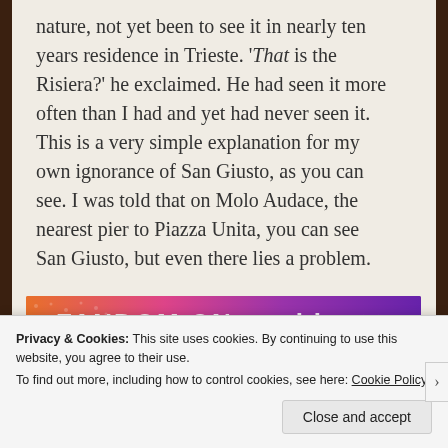nature, not yet been to see it in nearly ten years residence in Trieste. ‘That is the Risiera?’ he exclaimed. He had seen it more often than I had and yet had never seen it. This is a very simple explanation for my own ignorance of San Giusto, as you can see. I was told that on Molo Audace, the nearest pier to Piazza Unita, you can see San Giusto, but even there lies a problem.
[Figure (other): Colorful banner advertisement with orange-to-purple gradient and white decorative text/icons, partially visible text reading FANDOM ON TUMBLR]
[Figure (photo): Partially visible photo below the advertisement, appears to show green foliage]
Privacy & Cookies: This site uses cookies. By continuing to use this website, you agree to their use.
To find out more, including how to control cookies, see here: Cookie Policy
Close and accept